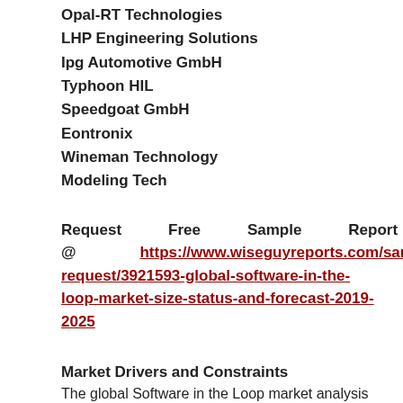Opal-RT Technologies
LHP Engineering Solutions
Ipg Automotive GmbH
Typhoon HIL
Speedgoat GmbH
Eontronix
Wineman Technology
Modeling Tech
Request Free Sample Report @ https://www.wiseguyreports.com/sample-request/3921593-global-software-in-the-loop-market-size-status-and-forecast-2019-2025
Market Drivers and Constraints
The global Software in the Loop market analysis report is a